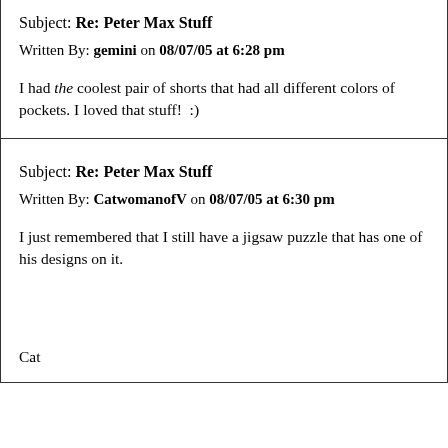Subject: Re: Peter Max Stuff
Written By: gemini on 08/07/05 at 6:28 pm
I had the coolest pair of shorts that had all different colors of pockets. I loved that stuff!  :)
Subject: Re: Peter Max Stuff
Written By: CatwomanofV on 08/07/05 at 6:30 pm
I just remembered that I still have a jigsaw puzzle that has one of his designs on it.
Cat